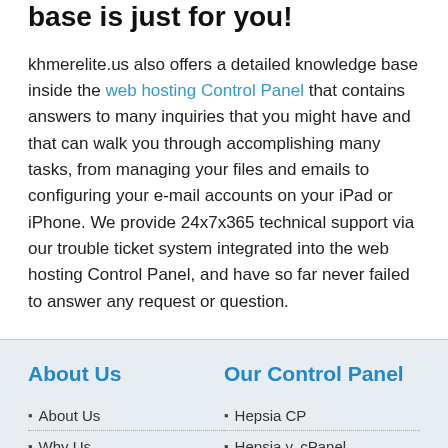base is just for you!
khmerelite.us also offers a detailed knowledge base inside the web hosting Control Panel that contains answers to many inquiries that you might have and that can walk you through accomplishing many tasks, from managing your files and emails to configuring your e-mail accounts on your iPad or iPhone. We provide 24x7x365 technical support via our trouble ticket system integrated into the web hosting Control Panel, and have so far never failed to answer any request or question.
About Us
Our Control Panel
About Us
Why Us
Hepsia CP
Hepsia v. cPanel